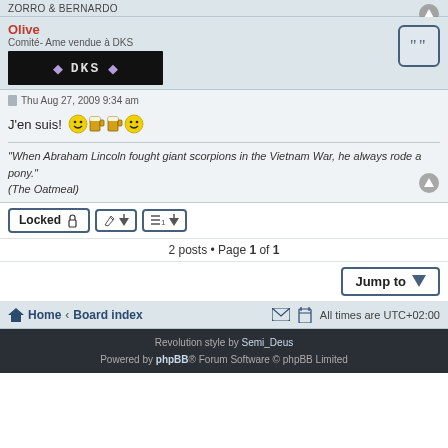ZORRO & BERNARDO
Olive
Comité- Ame vendue à DKS
Thu Aug 27, 2009 9:34 am
J'en suis!
"When Abraham Lincoln fought giant scorpions in the Vietnam War, he always rode a pony."
(The Oatmeal)
2 posts • Page 1 of 1
Home · Board index   All times are UTC+02:00
Revolution style by Semi_Deus
Powered by phpBB® Forum Software © phpBB Limited